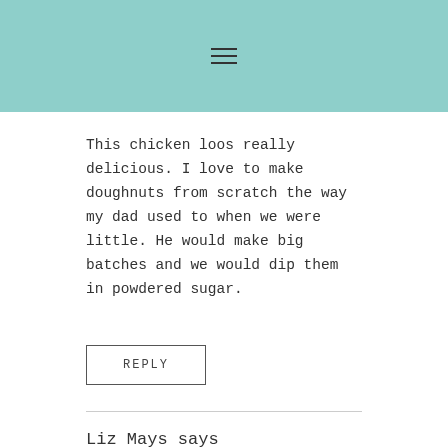This chicken loos really delicious. I love to make doughnuts from scratch the way my dad used to when we were little. He would make big batches and we would dip them in powdered sugar.
REPLY
Liz Mays says
September 30, 2014 at 10:13 pm
She definitely knows her fried chicken! That looks incredible!